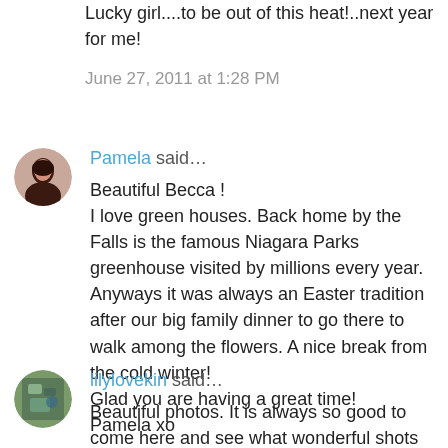Lucky girl....to be out of this heat!..next year for me!
June 27, 2011 at 1:28 PM
[Figure (photo): Avatar of Pamela, a woman with dark hair]
Pamela said…
Beautiful Becca !
I love green houses. Back home by the Falls is the famous Niagara Parks greenhouse visited by millions every year. Anyways it was always an Easter tradition after our big family dinner to go there to walk among the flowers. A nice break from the cold winter!
Glad you are having a great time!
Pamela xo
June 27, 2011 at 5:33 PM
[Figure (photo): Avatar of lilylovekin, a small profile photo with teal/green tones]
lilylovekin said…
Beautiful photos. It is always so good to come here and see what wonderful shots you have taken. It inspires me to get out there with my camera and shoot away-thank goodness for